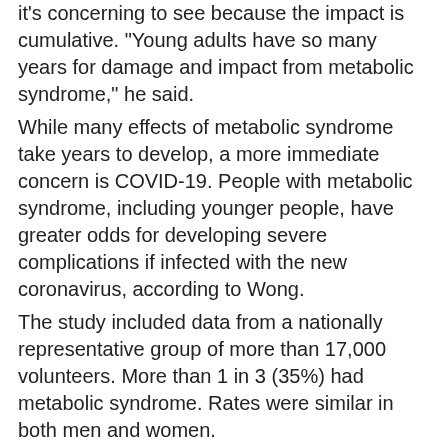it's concerning to see because the impact is cumulative. "Young adults have so many years for damage and impact from metabolic syndrome," he said.
While many effects of metabolic syndrome take years to develop, a more immediate concern is COVID-19. People with metabolic syndrome, including younger people, have greater odds for developing severe complications if infected with the new coronavirus, according to Wong.
The study included data from a nationally representative group of more than 17,000 volunteers. More than 1 in 3 (35%) had metabolic syndrome. Rates were similar in both men and women.
The researchers compared data on cases in 2011-2012 to levels in 2015-2016.
Among 20- to 39-year-olds, metabolic syndrome rose